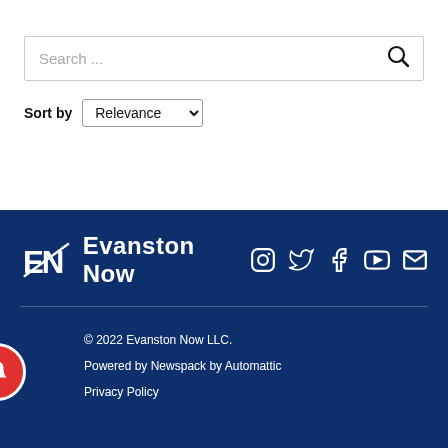Search ...
Sort by Relevance
[Figure (logo): Evanston Now logo with 'EN' icon and text 'Evanston Now' in white on dark blue background, with social media icons (Instagram, Twitter, Facebook, YouTube, Mail)]
© 2022 Evanston Now LLC.
Powered by Newspack by Automattic
Privacy Policy